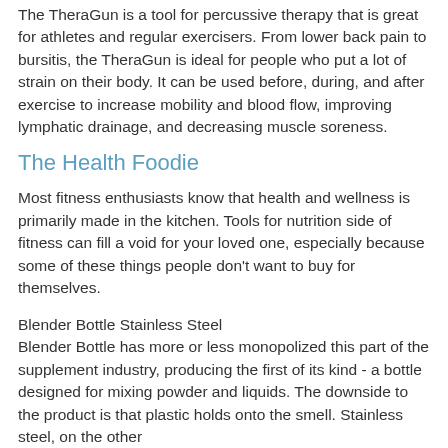The TheraGun is a tool for percussive therapy that is great for athletes and regular exercisers. From lower back pain to bursitis, the TheraGun is ideal for people who put a lot of strain on their body. It can be used before, during, and after exercise to increase mobility and blood flow, improving lymphatic drainage, and decreasing muscle soreness.
The Health Foodie
Most fitness enthusiasts know that health and wellness is primarily made in the kitchen. Tools for nutrition side of fitness can fill a void for your loved one, especially because some of these things people don't want to buy for themselves.
Blender Bottle Stainless Steel
Blender Bottle has more or less monopolized this part of the supplement industry, producing the first of its kind - a bottle designed for mixing powder and liquids. The downside to the product is that plastic holds onto the smell. Stainless steel, on the other